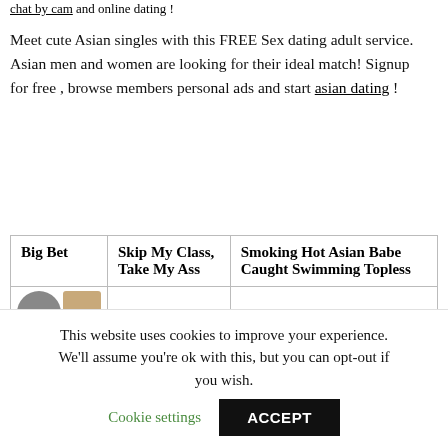chat by cam and online dating !
Meet cute Asian singles with this FREE Sex dating adult service. Asian men and women are looking for their ideal match! Signup for free , browse members personal ads and start asian dating !
| Big Bet | Skip My Class, Take My Ass | Smoking Hot Asian Babe Caught Swimming Topless |
| --- | --- | --- |
|  |  |  |
This website uses cookies to improve your experience. We'll assume you're ok with this, but you can opt-out if you wish.
Cookie settings
ACCEPT